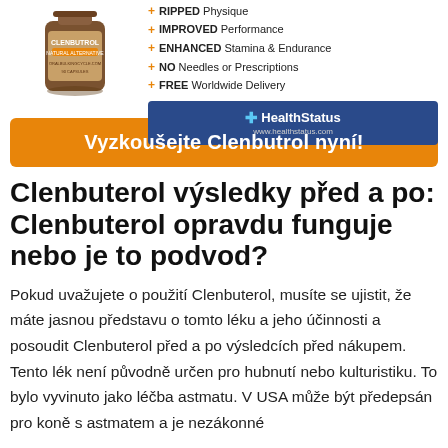[Figure (photo): Product bottle of Clenbutrol supplement from oralbulkingcycle.com, 90 capsules]
+ RIPPED Physique
+ IMPROVED Performance
+ ENHANCED Stamina & Endurance
+ NO Needles or Prescriptions
+ FREE Worldwide Delivery
[Figure (logo): HealthStatus logo with cross icon and www.healthstatus.com URL on dark blue background]
Vyzkoušejte Clenbutrol nyní!
Clenbuterol výsledky před a po: Clenbuterol opravdu funguje nebo je to podvod?
Pokud uvažujete o použití Clenbuterol, musíte se ujistit, že máte jasnou představu o tomto léku a jeho účinnosti a posoudit Clenbuterol před a po výsledcích před nákupem. Tento lék není původně určen pro hubnutí nebo kulturistiku. To bylo vyvinuto jako léčba astmatu. V USA může být předepsán pro koně s astmatem a je nezákonné